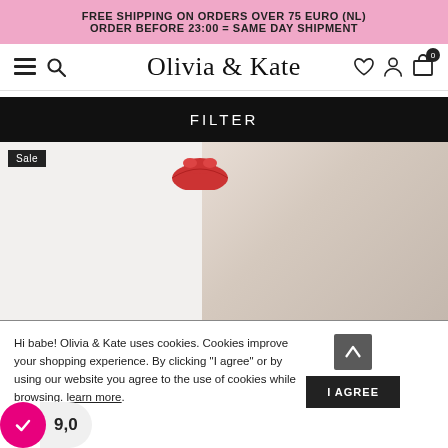FREE SHIPPING ON ORDERS OVER 75 EURO (NL)
ORDER BEFORE 23:00 = SAME DAY SHIPMENT
Olivia & Kate
FILTER
[Figure (screenshot): Product listing area showing a 'Sale' badge and a blurred product image with a red lip graphic partially visible]
Hi babe! Olivia & Kate uses cookies. Cookies improve your shopping experience. By clicking "I agree" or by using our website you agree to the use of cookies while browsing. learn more.
[Figure (other): Score badge showing 9,0 rating with pink background and checkmark icon]